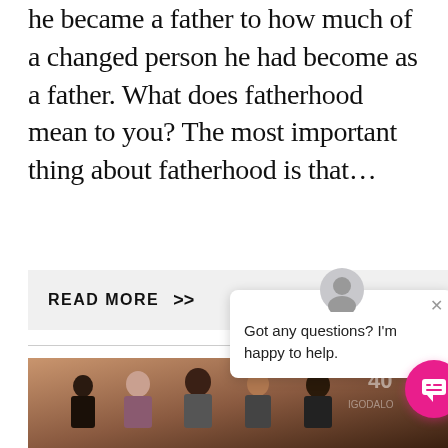he became a father to how much of a changed person he had become as a father. What does fatherhood mean to you? The most important thing about fatherhood is that...
READ MORE >>
[Figure (photo): Group photo of several people standing together at what appears to be an event, with a backdrop showing a logo that reads '40' and possibly 'IGODALO'. People are dressed formally.]
Got any questions? I'm happy to help.